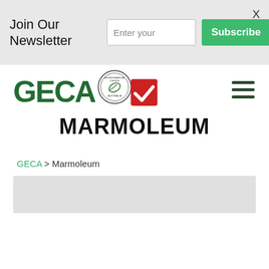Join Our Newsletter
Enter your
Subscribe
[Figure (logo): GECA logo with environmental choice Australia badge and red checkmark box]
MARMOLEUM
GECA > Marmoleum
[Figure (photo): Gray image area at the bottom of the page]